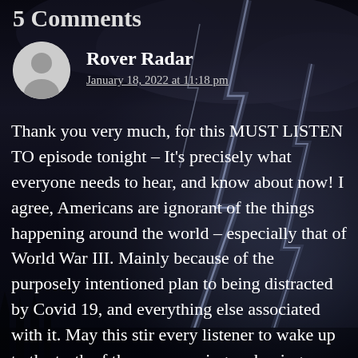5 Comments
Rover Radar
January 18, 2022 at 11:18 pm
Thank you very much, for this MUST LISTEN TO episode tonight – It's precisely what everyone needs to hear, and know about now! I agree, Americans are ignorant of the things happening around the world – especially that of World War III. Mainly because of the purposely intentioned plan to being distracted by Covid 19, and everything else associated with it. May this stir every listener to wake up to the truth of the soon coming reckoning